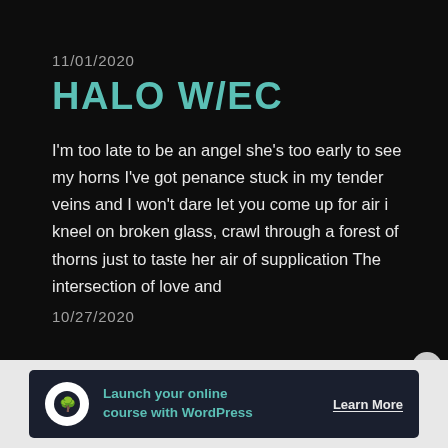11/01/2020
HALO W/EC
I'm too late to be an angel she's too early to see my horns I've got penance stuck in my tender veins and I won't dare let you come up for air i kneel on broken glass, crawl through a forest of thorns just to taste her air of supplication The intersection of love and [...]
10/27/2020
[Figure (infographic): Advertisement banner: dark background with a tree/person icon in a white circle, teal text 'Launch your online course with WordPress', and a 'Learn More' button in white text.]